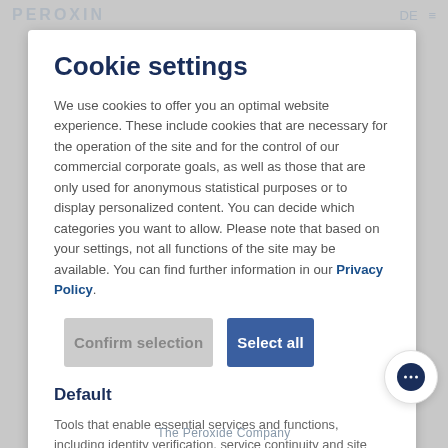PEROXIN  DE  ≡
Cookie settings
We use cookies to offer you an optimal website experience. These include cookies that are necessary for the operation of the site and for the control of our commercial corporate goals, as well as those that are only used for anonymous statistical purposes or to display personalized content. You can decide which categories you want to allow. Please note that based on your settings, not all functions of the site may be available. You can find further information in our Privacy Policy.
Confirm selection
Select all
Default
Tools that enable essential services and functions, including identity verification, service continuity and site security. This option cannot be denied.
The Peroxide Company